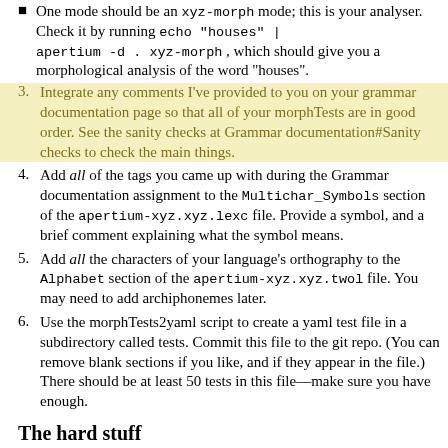One mode should be an xyz-morph mode; this is your analyser. Check it by running echo "houses" | apertium -d . xyz-morph , which should give you a morphological analysis of the word "houses".
3. Integrate any comments I've provided to you on your grammar documentation page so that all of your morphTests are in good order. See the sanity checks at Grammar documentation#Sanity checks to check the main things.
4. Add all of the tags you came up with during the Grammar documentation assignment to the Multichar_Symbols section of the apertium-xyz.xyz.lexc file. Provide a symbol, and a brief comment explaining what the symbol means.
5. Add all the characters of your language's orthography to the Alphabet section of the apertium-xyz.xyz.twol file. You may need to add archiphonemes later.
6. Use the morphTests2yaml script to create a yaml test file in a subdirectory called tests. Commit this file to the git repo. (You can remove blank sections if you like, and if they appear in the file.) There should be at least 50 tests in this file—make sure you have enough.
The hard stuff
1. Build your morphological transducer, adding all of the stems from your Grammar documentation assignment, categorised